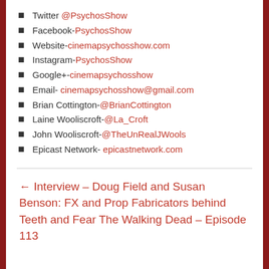Twitter @PsychosShow
Facebook-PsychosShow
Website-cinemapsychosshow.com
Instagram-PsychosShow
Google+-cinemapsychosshow
Email- cinemapsychosshow@gmail.com
Brian Cottington-@BrianCottington
Laine Wooliscroft-@La_Croft
John Wooliscroft-@TheUnRealJWools
Epicast Network- epicastnetwork.com
← Interview – Doug Field and Susan Benson: FX and Prop Fabricators behind Teeth and Fear The Walking Dead – Episode 113